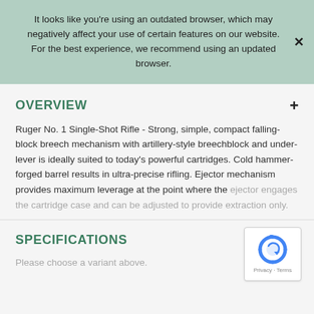It looks like you're using an outdated browser, which may negatively affect your use of certain features on our website. For the best experience, we recommend using an updated browser.
OVERVIEW
Ruger No. 1 Single-Shot Rifle - Strong, simple, compact falling-block breech mechanism with artillery-style breechblock and under-lever is ideally suited to today's powerful cartridges. Cold hammer-forged barrel results in ultra-precise rifling. Ejector mechanism provides maximum leverage at the point where the ejector engages the cartridge case and can be adjusted to provide extraction only.
SPECIFICATIONS
Please choose a variant above.